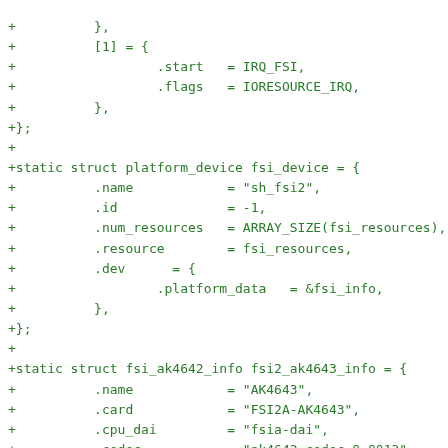[Figure (other): Source code diff snippet in C showing platform device and FSI AK4642 struct definitions with green-colored added lines]